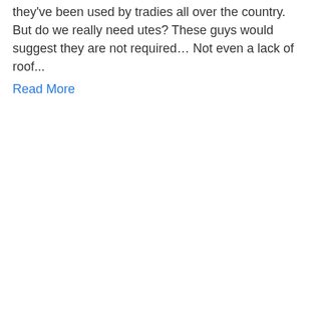they've been used by tradies all over the country. But do we really need utes?  These guys would suggest they are not required… Not even a lack of roof...
Read More